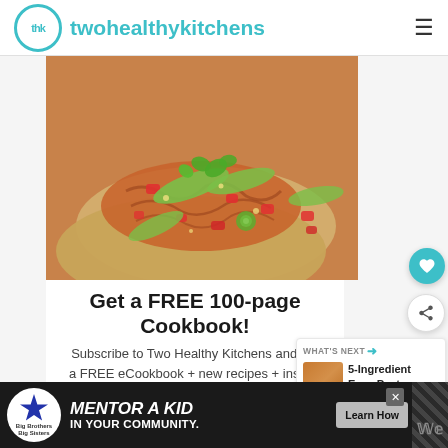twohealthykitchens
[Figure (photo): Close-up photo of chicken tacos on flour tortillas topped with shredded chicken, diced tomatoes, avocado slices, jalapeño slices, cilantro, and cotija cheese]
Get a FREE 100-page Cookbook!
Subscribe to Two Healthy Kitchens and get a FREE eCookbook + new recipes + insider
[Figure (other): What's Next panel showing a thumbnail image and text '5-Ingredient Easy Pasta...']
[Figure (other): Advertisement banner: Big Brothers Big Sisters - MENTOR A KID IN YOUR COMMUNITY. Learn How button]